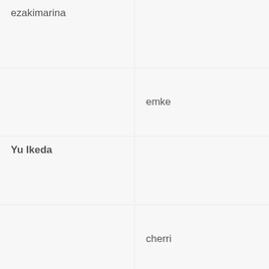ezakimarina
emke
Yu Ikeda
cherri